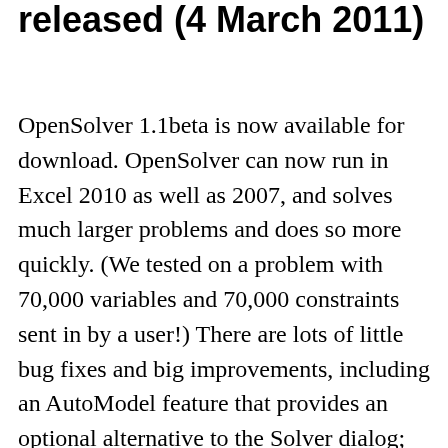released (4 March 2011)
OpenSolver 1.1beta is now available for download. OpenSolver can now run in Excel 2010 as well as 2007, and solves much larger problems and does so more quickly. (We tested on a problem with 70,000 variables and 70,000 constraints sent in by a user!) There are lots of little bug fixes and big improvements, including an AutoModel feature that provides an optional alternative to the Solver dialog; many thanks to my student Iain Dunning for coding this up. We now also check that the model is linear, and highlight any problems. Thanks to Kathleen Gilbert for working over her holidays to make these